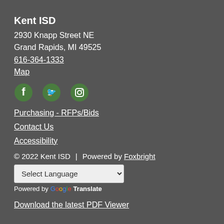Kent ISD
2930 Knapp Street NE
Grand Rapids, MI 49525
616-364-1333
Map
[Figure (illustration): Three social media icons: Facebook, Twitter, Instagram in green circular style]
Purchasing - RFPs/Bids
Contact Us
Accessibility
© 2022 Kent ISD  |  Powered by Foxbright
Select Language (dropdown)
Powered by Google Translate
Download the latest PDF Viewer